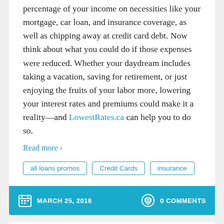percentage of your income on necessities like your mortgage, car loan, and insurance coverage, as well as chipping away at credit card debt. Now think about what you could do if those expenses were reduced. Whether your daydream includes taking a vacation, saving for retirement, or just enjoying the fruits of your labor more, lowering your interest rates and premiums could make it a reality—and LowestRates.ca can help you to do so.
Read more ›
all loans promos
Credit Cards
insurance
MARCH 25, 2018    0 COMMENTS
Save Money on Your Mortgage with Mr. Cooper